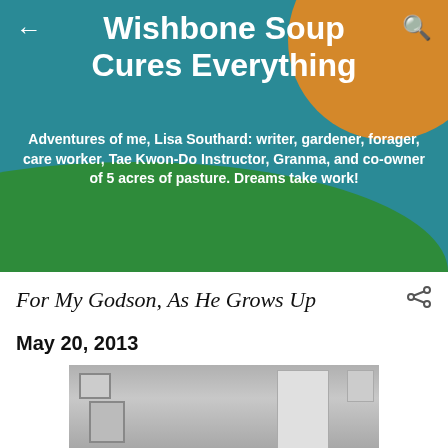Wishbone Soup Cures Everything
Adventures of me, Lisa Southard: writer, gardener, forager, care worker, Tae Kwon-Do Instructor, Granma, and co-owner of 5 acres of pasture. Dreams take work!
For My Godson, As He Grows Up
May 20, 2013
[Figure (photo): Black and white photo of a room interior with a door, wall frames/pictures on the wall]